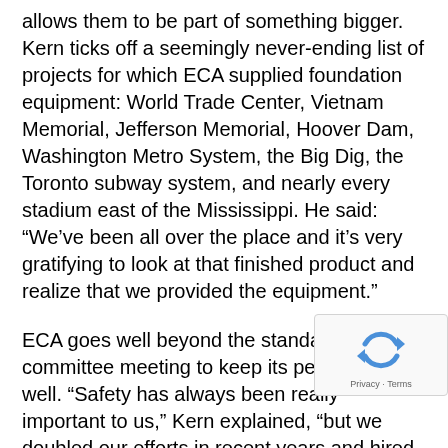allows them to be part of something bigger. Kern ticks off a seemingly never-ending list of projects for which ECA supplied foundation equipment: World Trade Center, Vietnam Memorial, Jefferson Memorial, Hoover Dam, Washington Metro System, the Big Dig, the Toronto subway system, and nearly every stadium east of the Mississippi. He said: “We’ve been all over the place and it’s very gratifying to look at that finished product and realize that we provided the equipment.”
ECA goes well beyond the standard safety committee meeting to keep its people safe as well. “Safety has always been really important to us,” Kern explained, “but we doubled our efforts in recent years and hired a safety consultant. We put our money where our mouth is.”
The safety consultant conducted an in-depth assess ECA’s nine facilities. The results were turned into a
[Figure (other): reCAPTCHA widget overlay showing circular arrows logo and 'Privacy - Terms' text]